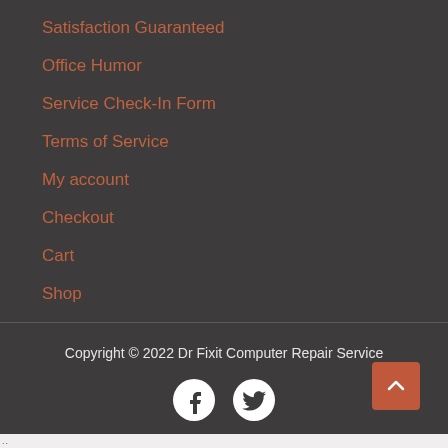Satisfaction Guaranteed
Office Humor
Service Check-In Form
Terms of Service
My account
Checkout
Cart
Shop
Copyright © 2022 Dr Fixit Computer Repair Service